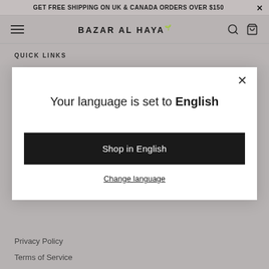GET FREE SHIPPING ON UK & CANADA ORDERS OVER $150 ×
BAZAR AL HAYA [hamburger menu, search icon, cart icon]
QUICK LINKS
[Figure (screenshot): Modal dialog box with white background on grey page. Contains close (×) button top-right, heading text 'Your language is set to English', a black button labeled 'Shop in English', and an underlined link 'Change language'.]
Your language is set to English
Shop in English
Change language
Privacy Policy
Terms of Service